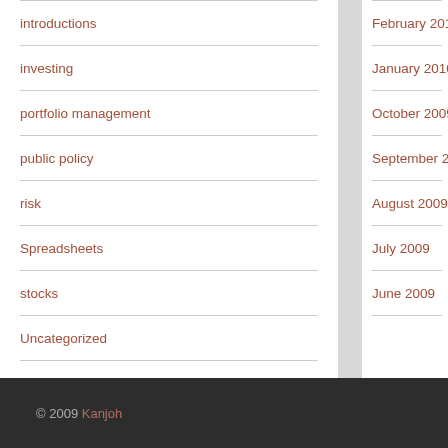introductions
investing
portfolio management
public policy
risk
Spreadsheets
stocks
Uncategorized
February 2010
January 2010
October 2009
September 2009
August 2009
July 2009
June 2009
© 2009 Kanjoh